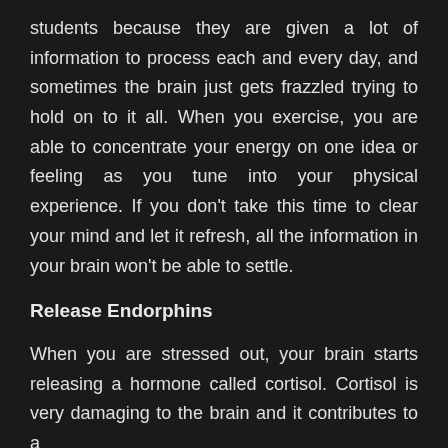students because they are given a lot of information to process each and every day, and sometimes the brain just gets frazzled trying to hold on to it all. When you exercise, you are able to concentrate your energy on one idea or feeling as you tune into your physical experience. If you don't take this time to clear your mind and let it refresh, all the information in your brain won't be able to settle.
Release Endorphins
When you are stressed out, your brain starts releasing a hormone called cortisol. Cortisol is very damaging to the brain and it contributes to a